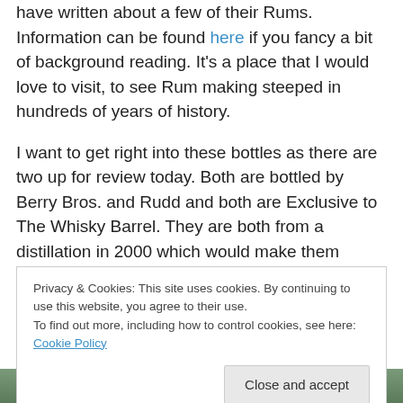have written about a few of their Rums. Information can be found here if you fancy a bit of background reading. It's a place that I would love to visit, to see Rum making steeped in hundreds of years of history.
I want to get right into these bottles as there are two up for review today. Both are bottled by Berry Bros. and Rudd and both are Exclusive to The Whisky Barrel. They are both from a distillation in 2000 which would make them potentially LROK giving them an ester level of 200-400 g/hl AA. Not excessively high….but as we
Privacy & Cookies: This site uses cookies. By continuing to use this website, you agree to their use.
To find out more, including how to control cookies, see here: Cookie Policy
[Figure (photo): Bottom strip of a photo, showing green foliage or landscape]